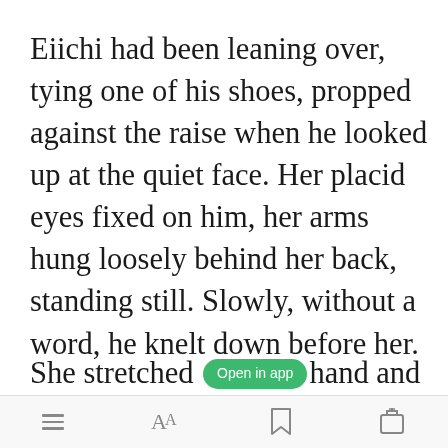Eiichi had been leaning over, tying one of his shoes, propped against the raise when he looked up at the quiet face. Her placid eyes fixed on him, her arms hung loosely behind her back, standing still. Slowly, without a word, he knelt down before her.
She stretched out one hand and in it was a bracelet. She had taken three
[Figure (other): Green 'Open in app' button overlay appearing inline within the text]
Bottom navigation bar with menu, font size, bookmark, and share icons